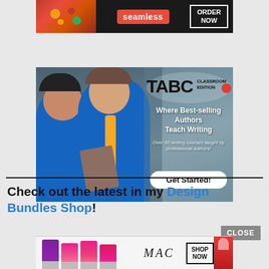[Figure (screenshot): Seamless food delivery advertisement with pizza image, red seamless logo, and ORDER NOW button on dark background]
[Figure (screenshot): TABC Classroom Edition advertisement showing two students in blue shirts. Text reads: Where Best-selling Authors Teach Writing. Over 60 writing courses taught by professional authors! Get Started! button.]
Check out the latest in my Design Bundles Shop!
[Figure (screenshot): MAC cosmetics advertisement showing lipsticks, MAC logo, SHOP NOW button, and red lipstick on right]